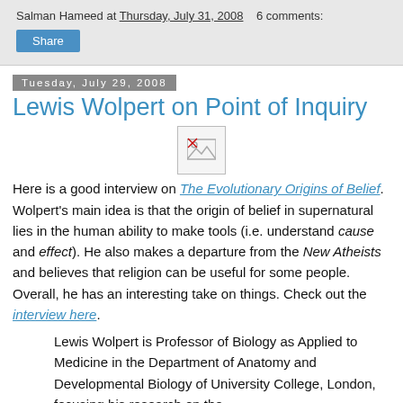Salman Hameed at Thursday, July 31, 2008  6 comments:
Share
Tuesday, July 29, 2008
Lewis Wolpert on Point of Inquiry
[Figure (photo): Broken image placeholder icon]
Here is a good interview on The Evolutionary Origins of Belief. Wolpert’s main idea is that the origin of belief in supernatural lies in the human ability to make tools (i.e. understand cause and effect). He also makes a departure from the New Atheists and believes that religion can be useful for some people. Overall, he has an interesting take on things. Check out the interview here.
Lewis Wolpert is Professor of Biology as Applied to Medicine in the Department of Anatomy and Developmental Biology of University College, London, focusing his research on the